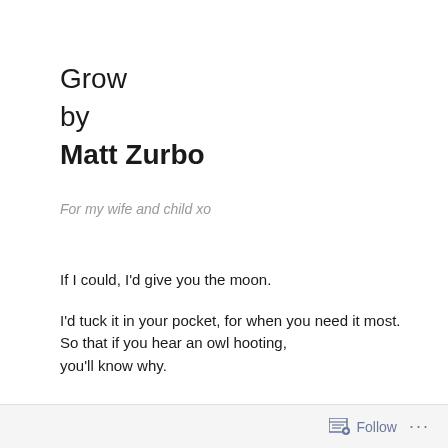Grow
by
Matt Zurbo
For my wife and child xo
If I could, I'd give you the moon.
I'd tuck it in your pocket, for when you need it most.
So that if you hear an owl hooting,
you'll know why.
Follow